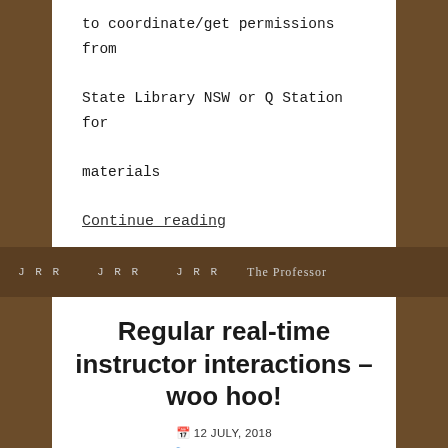to coordinate/get permissions from State Library NSW or Q Station for materials
Continue reading
Regular real-time instructor interactions – woo hoo!
📅 12 JULY, 2018
👤 MARIKA SIMON
📂 EER500 / ONLINE LEARNING / REFLECTION
💬 LEAVE A COMMENT
Last night I attended my first online meeting